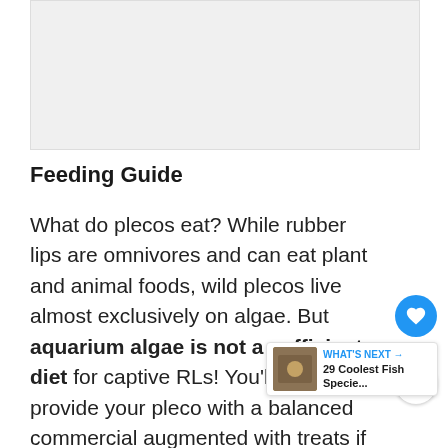[Figure (other): Advertisement placeholder — light gray rectangle at top of page]
Feeding Guide
What do plecos eat? While rubber lips are omnivores and can eat plant and animal foods, wild plecos live almost exclusively on algae. But aquarium algae is not a sufficient diet for captive RLs! You’ll have to provide your pleco with a balanced commercial augmented with treats if you want them